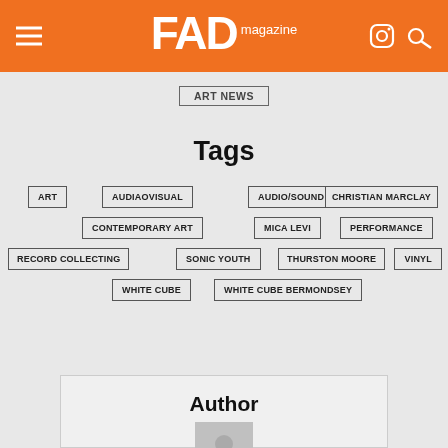FAD magazine
Categories
ART NEWS
Tags
ART
AUDIAOVISUAL
AUDIO/SOUND
CHRISTIAN MARCLAY
CONTEMPORARY ART
MICA LEVI
PERFORMANCE
RECORD COLLECTING
SONIC YOUTH
THURSTON MOORE
VINYL
WHITE CUBE
WHITE CUBE BERMONDSEY
Author
[Figure (photo): Author photo, black and white portrait]